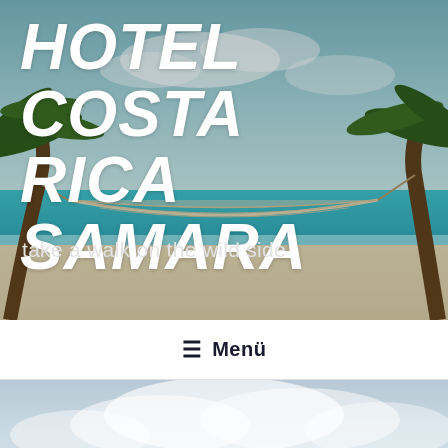[Figure (photo): Tropical beach scene with hammock strung between palm trees, turquoise water and white sand in background. Bold white text overlay reads HOTEL COSTA RICA SAMARA with subtitle take a walk on the wild side.]
HOTEL COSTA RICA SAMARA
take a walk on the wild side
≡ Menü
[Figure (photo): Wide sandy beach with gentle waves, misty hills and small island visible in the background under a hazy blue sky.]